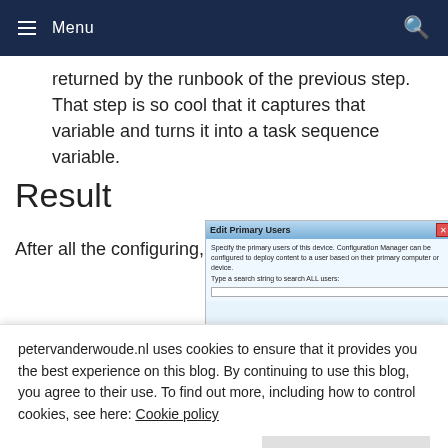Menu
returned by the runbook of the previous step. That step is so cool that it captures that variable and turns it into a task sequence variable.
Result
After all the configuring, it's now time to take a look at the result
[Figure (screenshot): Edit Primary Users dialog box from Configuration Manager]
petervanderwoude.nl uses cookies to ensure that it provides you the best experience on this blog. By continuing to use this blog, you agree to their use. To find out more, including how to control cookies, see here: Cookie policy
actions, so I had to pick a few. I tried to pick